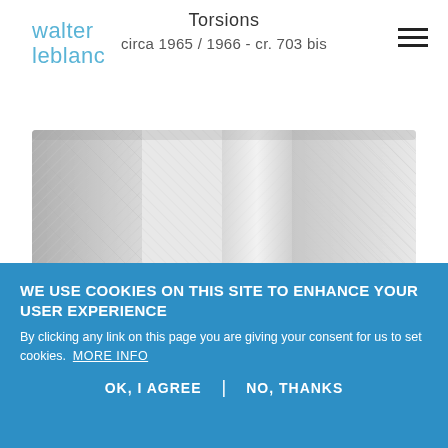walter leblanc — Torsions circa 1965 / 1966 - cr. 703 bis
[Figure (photo): Close-up photograph of a Torsions artwork by Walter Leblanc showing woven/twisted plastic strips in white and grey creating a herringbone-like pattern with vertical light columns]
WE USE COOKIES ON THIS SITE TO ENHANCE YOUR USER EXPERIENCE
By clicking any link on this page you are giving your consent for us to set cookies. MORE INFO
OK, I AGREE | NO, THANKS